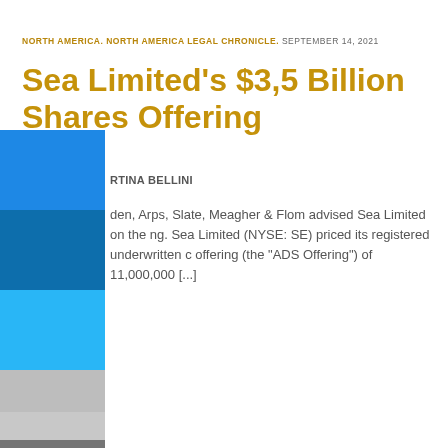NORTH AMERICA. NORTH AMERICA LEGAL CHRONICLE. SEPTEMBER 14, 2021
Sea Limited's $3,5 Billion Shares Offering
RTINA BELLINI
den, Arps, Slate, Meagher & Flom advised Sea Limited on the ng. Sea Limited (NYSE: SE) priced its registered underwritten c offering (the "ADS Offering") of 11,000,000 [...]